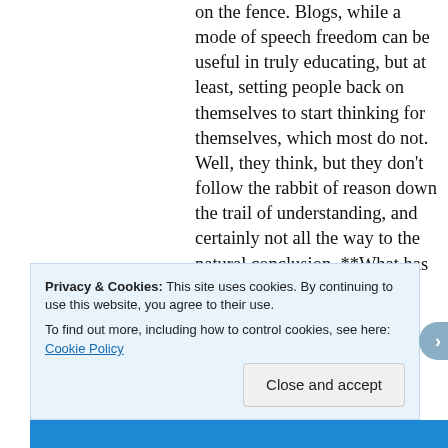on the fence. Blogs, while a mode of speech freedom can be useful in truly educating, but at least, setting people back on themselves to start thinking for themselves, which most do not. Well, they think, but they don't follow the rabbit of reason down the trail of understanding, and certainly not all the way to the natural conclusion. **What has happened, and “they” knew what they were doing, was to stop real education, which I believe is why the Soviet society, WWII German
Privacy & Cookies: This site uses cookies. By continuing to use this website, you agree to their use. To find out more, including how to control cookies, see here: Cookie Policy
Close and accept